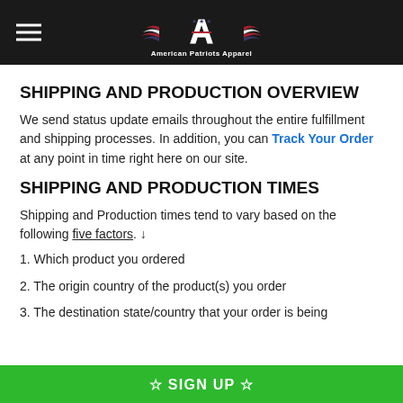American Patriots Apparel
SHIPPING AND PRODUCTION OVERVIEW
We send status update emails throughout the entire fulfillment and shipping processes. In addition, you can Track Your Order at any point in time right here on our site.
SHIPPING AND PRODUCTION TIMES
Shipping and Production times tend to vary based on the following five factors. ↓
1. Which product you ordered
2. The origin country of the product(s) you order
3. The destination state/country that your order is being
☆ SIGN UP ☆